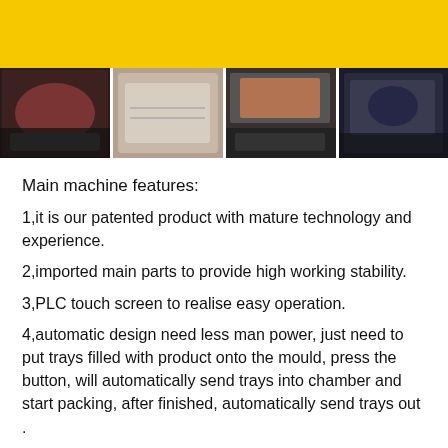REQUEST A QUOTE
[Figure (photo): Four food packaging product photos in a horizontal strip showing vacuum-packed meat and food items in trays]
Main machine features:
1,it is our patented product with mature technology and experience.
2,imported main parts to provide high working stability.
3,PLC touch screen to realise easy operation.
4,automatic design need less man power, just need to put trays filled with product onto the mould, press the button, will automatically send trays into chamber and start packing, after finished, automatically send trays out .
5,mould changeable , machine sealing mould is made according to trays size and changeable ,so that one machine can fit for different